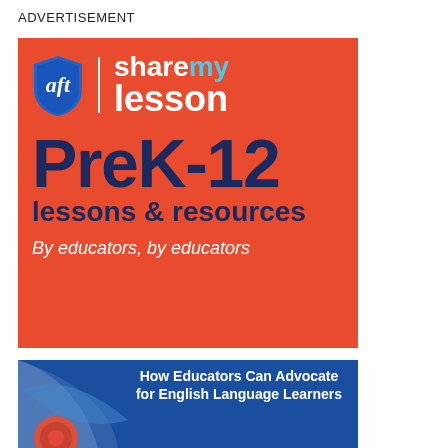ADVERTISEMENT
[Figure (illustration): ShareMyLesson advertisement banner on orange background with AFT shield logo, 'share my lesson' branding, 'PreK-12 lessons & resources' and 'By educators, by educators' tagline]
[Figure (illustration): Blue banner advertisement: 'How Educators Can Advocate for English Language Learners' with decorative curved design and circular logo element]